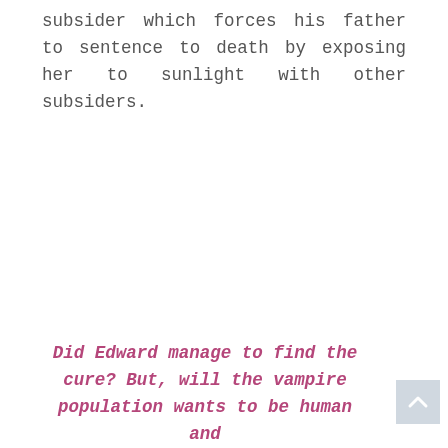subsider which forces his father to sentence to death by exposing her to sunlight with other subsiders.
Did Edward manage to find the cure? But, will the vampire population wants to be human and